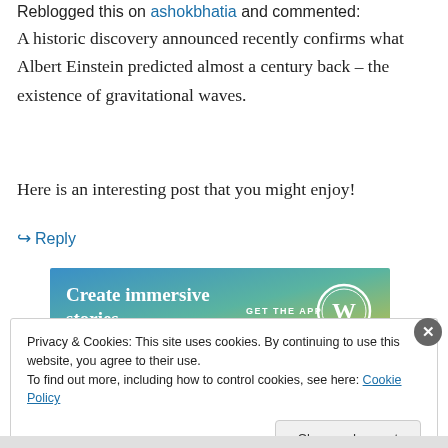Reblogged this on ashokbhatia and commented:
A historic discovery announced recently confirms what Albert Einstein predicted almost a century back – the existence of gravitational waves.
Here is an interesting post that you might enjoy!
↪ Reply
[Figure (other): WordPress advertisement banner with gradient background (blue to yellow-green) reading 'Create immersive stories.' with 'GET THE APP' and WordPress logo]
REPORT THIS AD
Privacy & Cookies: This site uses cookies. By continuing to use this website, you agree to their use.
To find out more, including how to control cookies, see here: Cookie Policy
Close and accept